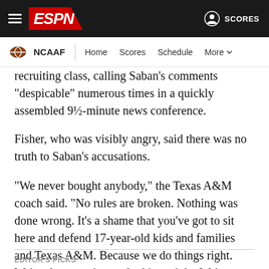ESPN - NCAAF | Home | Scores | Schedule | More | SCORES
recruiting class, calling Saban's comments "despicable" numerous times in a quickly assembled 9½-minute news conference.
Fisher, who was visibly angry, said there was no truth to Saban's accusations.
"We never bought anybody," the Texas A&M coach said. "No rules are broken. Nothing was done wrong. It's a shame that you've got to sit here and defend 17-year-old kids and families and Texas A&M. Because we do things right. We're always going to do things right. We're always going to be here. We're doing a heck of a job."
EDITOR'S PICKS